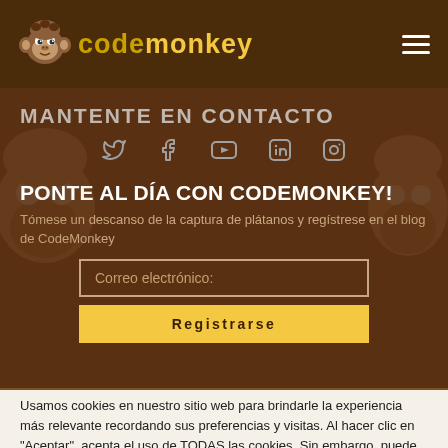CodeMonkey
MANTENTE EN CONTACTO
[Figure (infographic): Social media icons row: Twitter, Facebook, YouTube, LinkedIn, Instagram]
PONTE AL DÍA CON CODEMONKEY!
Tómese un descanso de la captura de plátanos y regístrese en el blog de CodeMonkey
Correo electrónico:
Registrarse
Usamos cookies en nuestro sitio web para brindarle la experiencia más relevante recordando sus preferencias y visitas. Al hacer clic en "Aceptar", acepta el uso de TODAS las cookies. Sin embargo, puede visitar la Configuración de cookies para proporcionar un consentimiento controlado.